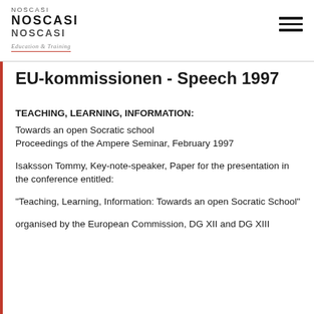NOSCASI NOSCASI NOSCASI Education & Training
EU-kommissionen - Speech 1997
TEACHING, LEARNING, INFORMATION:
Towards an open Socratic school
Proceedings of the Ampere Seminar, February 1997
Isaksson Tommy, Key-note-speaker, Paper for the presentation in the conference entitled:
"Teaching, Learning, Information: Towards an open Socratic School"
organised by the European Commission, DG XII and DG XIII